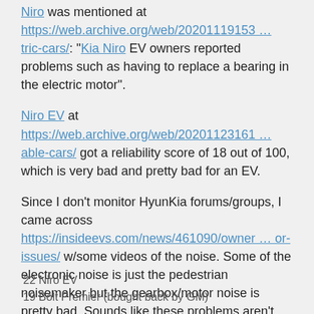Niro was mentioned at https://web.archive.org/web/20201119153 … tric-cars/: "Kia Niro EV owners reported problems such as having to replace a bearing in the electric motor".
Niro EV at https://web.archive.org/web/20201123161 … able-cars/ got a reliability score of 18 out of 100, which is very bad and pretty bad for an EV.
Since I don't monitor HyunKia forums/groups, I came across https://insideevs.com/news/461090/owner … or-issues/ w/some videos of the noise. Some of the electronic noise is just the pedestrian noisemaker but the gearbox/motor noise is pretty bad. Sounds like these problems aren't that isolated given how few of these vehicles have been sold at least in the US.
'22 Niro EV
'19 Bolt Premier (bought back by GM)